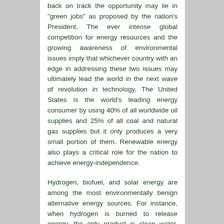back on track the opportunity may lie in "green jobs" as proposed by the nation's President. The ever intense global competition for energy resources and the growing awareness of environmental issues imply that whichever country with an edge in addressing these two issues may ultimately lead the world in the next wave of revolution in technology. The United States is the world's leading energy consumer by using 40% of all worldwide oil supplies and 25% of all coal and natural gas supplies but it only produces a very small portion of them. Renewable energy also plays a critical role for the nation to achieve energy-independence.
Hydrogen, biofuel, and solar energy are among the most environmentally benign alternative energy sources. For instance, when hydrogen is burned to release energy, the only product is clean water. They are also among the most promising and most heavily invested